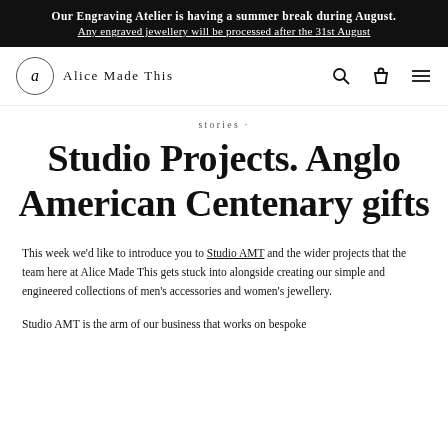Our Engraving Atelier is having a summer break during August. Any engraved jewellery will be processed after the 31st August
[Figure (logo): Alice Made This logo — circular badge with letter 'a' in italic serif, followed by brand name 'Alice Made This' in spaced serif. Navigation icons: search, bag, menu.]
stories ·
Studio Projects. Anglo American Centenary gifts
This week we'd like to introduce you to Studio AMT and the wider projects that the team here at Alice Made This gets stuck into alongside creating our simple and engineered collections of men's accessories and women's jewellery.
Studio AMT is the arm of our business that works on bespoke